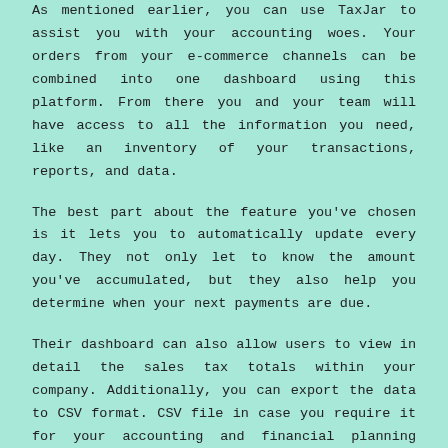As mentioned earlier, you can use TaxJar to assist you with your accounting woes. Your orders from your e-commerce channels can be combined into one dashboard using this platform. From there you and your team will have access to all the information you need, like an inventory of your transactions, reports, and data.
The best part about the feature you've chosen is it lets you to automatically update every day. They not only let to know the amount you've accumulated, but they also help you determine when your next payments are due.
Their dashboard can also allow users to view in detail the sales tax totals within your company. Additionally, you can export the data to CSV format. CSV file in case you require it for your accounting and financial planning processes or if your team requires it to run centralized reports.
Streamlining and Training...